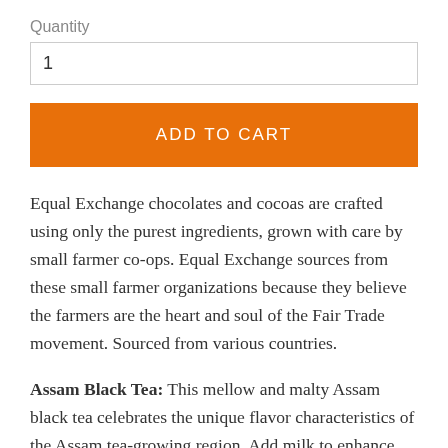Quantity
1
ADD TO CART
Equal Exchange chocolates and cocoas are crafted using only the purest ingredients, grown with care by small farmer co-ops. Equal Exchange sources from these small farmer organizations because they believe the farmers are the heart and soul of the Fair Trade movement. Sourced from various countries.
Assam Black Tea: This mellow and malty Assam black tea celebrates the unique flavor characteristics of the Assam tea-growing region. Add milk to enhance your